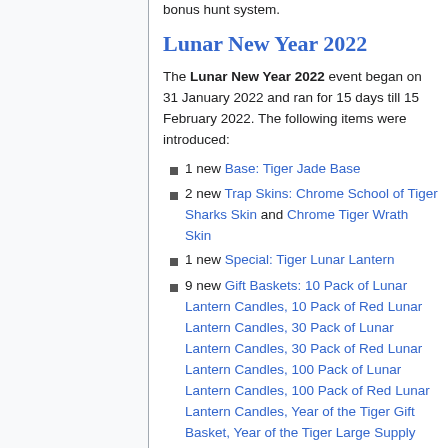bonus hunt system.
Lunar New Year 2022
The Lunar New Year 2022 event began on 31 January 2022 and ran for 15 days till 15 February 2022. The following items were introduced:
1 new Base: Tiger Jade Base
2 new Trap Skins: Chrome School of Tiger Sharks Skin and Chrome Tiger Wrath Skin
1 new Special: Tiger Lunar Lantern
9 new Gift Baskets: 10 Pack of Lunar Lantern Candles, 10 Pack of Red Lunar Lantern Candles, 30 Pack of Lunar Lantern Candles, 30 Pack of Red Lunar Lantern Candles, 100 Pack of Lunar Lantern Candles, 100 Pack of Red Lunar Lantern Candles, Year of the Tiger Gift Basket, Year of the Tiger Large Supply Kit, and Year of the Tiger Supply Kit
3 new Airship Cosmetics: Year of the Tiger Airship Balloon, Year of the Tiger Airship Hull, and Year of the Tiger Airship Sail